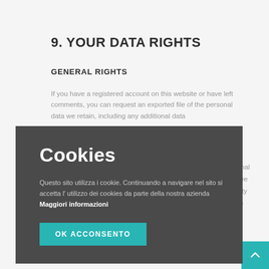9. YOUR DATA RIGHTS
GENERAL RIGHTS
If you have a registered account on this website or have left comments, you can request an exported file of the personal data we retain, including any additional data
personal data we … security … vital to …
[Figure (other): Cookie consent overlay with dark background. Title 'Cookies' in large white text. Body text in Italian: 'Questo sito utilizza i cookie. Continuando a navigare nel sito si accetta l' utilizzo dei cookies da parte della nostra azienda Maggiori informazioni'. Button labeled 'OK ACCONSENTO' in teal/cyan color.]
will no … duct- related services to you.